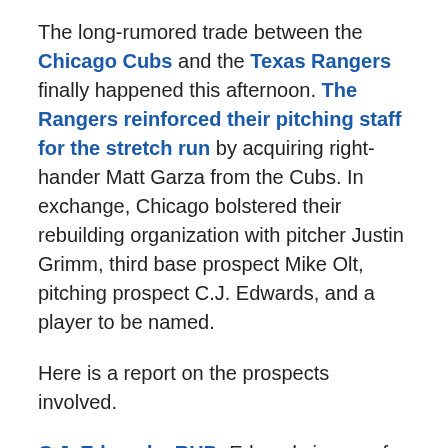The long-rumored trade between the Chicago Cubs and the Texas Rangers finally happened this afternoon. The Rangers reinforced their pitching staff for the stretch run by acquiring right-hander Matt Garza from the Cubs. In exchange, Chicago bolstered their rebuilding organization with pitcher Justin Grimm, third base prospect Mike Olt, pitching prospect C.J. Edwards, and a player to be named.
Here is a report on the prospects involved.
C.J. Edwards, RHP: Edwards is one of the best stories in the minor leagues this year. He's having an outstanding campaign for Low-A Hickory in the South Atlantic League, going 8-2 in 18 starts with a 1.83 ERA and an excellent 122/34 K/BB ratio in 93 innings. He's